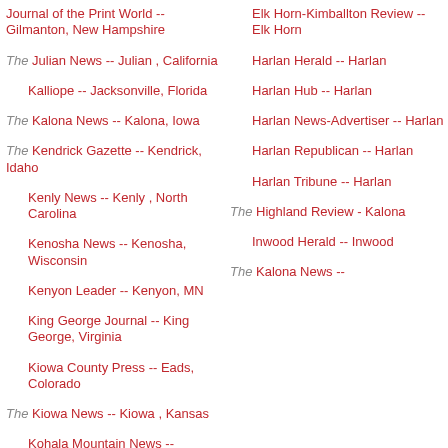Journal of the Print World -- Gilmanton, New Hampshire
Elk Horn-Kimballton Review -- Elk Horn
The Julian News -- Julian , California
Harlan Herald -- Harlan
Kalliope -- Jacksonville, Florida
Harlan Hub -- Harlan
The Kalona News -- Kalona, Iowa
Harlan News-Advertiser -- Harlan
The Kendrick Gazette -- Kendrick, Idaho
Harlan Republican -- Harlan
Kenly News -- Kenly , North Carolina
Harlan Tribune -- Harlan
Kenosha News -- Kenosha, Wisconsin
The Highland Review - Kalona
Kenyon Leader -- Kenyon, MN
Inwood Herald -- Inwood
King George Journal -- King George, Virginia
The Kalona News --
Kiowa County Press -- Eads, Colorado
The Kiowa News -- Kiowa , Kansas
Kohala Mountain News -- Kapa'au, HI